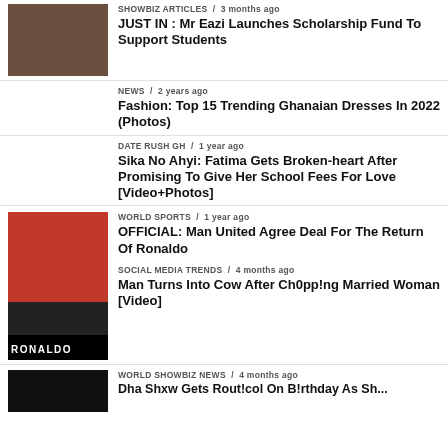SHOWBIZ ARTICLES / 3 months ago — JUST IN: Mr Eazi Launches Scholarship Fund To Support Students
NEWS / 2 years ago — Fashion: Top 15 Trending Ghanaian Dresses In 2022 (Photos)
DATE RUSH GH / 1 year ago — Sika No Ahyi: Fatima Gets Broken-heart After Promising To Give Her School Fees For Love [Video+Photos]
WORLD SPORTS / 1 year ago — OFFICIAL: Man United Agree Deal For The Return Of Ronaldo
SOCIAL MEDIA TRENDS / 4 months ago — Man Turns Into Cow After Ch0pp!ng Married Woman [Video]
WORLD SHOWBIZ NEWS / 4 months ago — [partial headline]